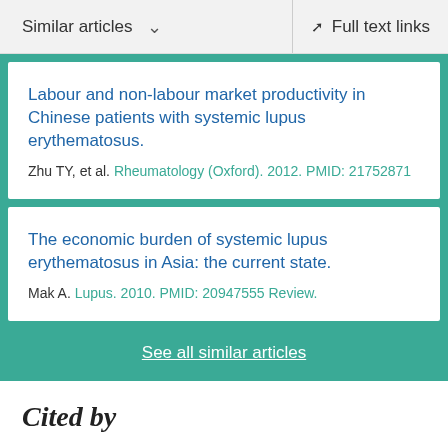Similar articles  ∨    Full text links
Labour and non-labour market productivity in Chinese patients with systemic lupus erythematosus.
Zhu TY, et al. Rheumatology (Oxford). 2012. PMID: 21752871
The economic burden of systemic lupus erythematosus in Asia: the current state.
Mak A. Lupus. 2010. PMID: 20947555 Review.
See all similar articles
Cited by